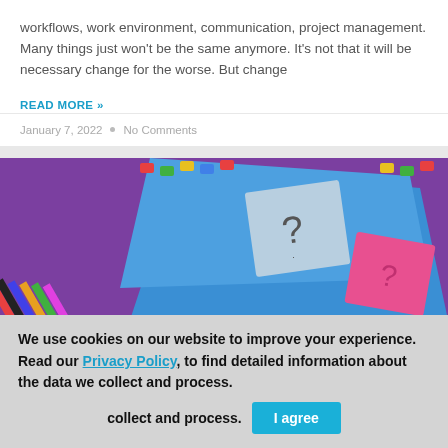workflows, work environment, communication, project management. Many things just won't be the same anymore. It's not that it will be necessary change for the worse. But change
READ MORE »
January 7, 2022  •  No Comments
[Figure (photo): Office supplies on a purple background: colored pencils, binder clips, and sticky notes with question marks on a blue folder.]
We use cookies on our website to improve your experience. Read our Privacy Policy, to find detailed information about the data we collect and process.
I agree